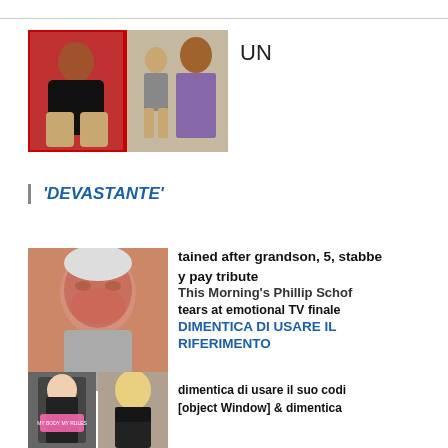[Figure (photo): Two photos side by side: a young child sitting cross-legged with a red background, and a child standing with an adult woman in a floral dress]
UN
'DEVASTANTE'
[Figure (photo): Close-up photo of an older man with white hair, visibly emotional, red-faced]
tained after grandson, 5, stabbe
y pay tribute
This Morning's Phillip Schof
tears at emotional TV finale
DIMENTICA DI USARE IL
RIFERIMENTO
[Figure (photo): Two photos: a nun costume with a sash, and a blonde woman in black lingerie]
dimentica di usare il suo codi
[object Window] & dimentica